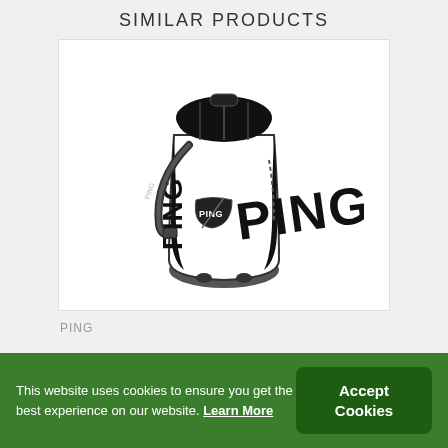SIMILAR PRODUCTS
[Figure (photo): PING branded white and black golf staff bag shown at an angle, with PING logo prominently displayed on the side in large black letters.]
PING
This website uses cookies to ensure you get the best experience on our website. Learn More